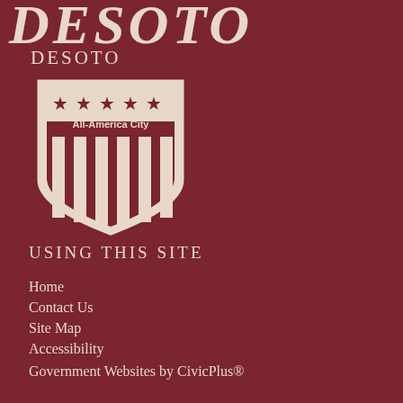[Figure (logo): DeSoto city cursive logo text partially visible at top, cropped]
DESOTO
[Figure (logo): All-America City shield badge logo with five stars and vertical stripes]
USING THIS SITE
Home
Contact Us
Site Map
Accessibility
Government Websites by CivicPlus®